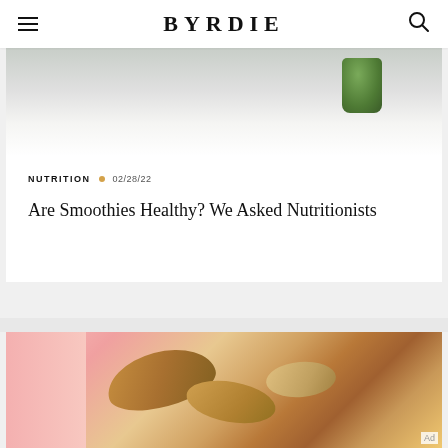BYRDIE
[Figure (photo): Top portion of a food/drink photo showing a green smoothie glass on a light surface]
NUTRITION · 02/28/22
Are Smoothies Healthy? We Asked Nutritionists
[Figure (photo): Close-up photo of cashews and mixed nuts in a pink container, partially cropped]